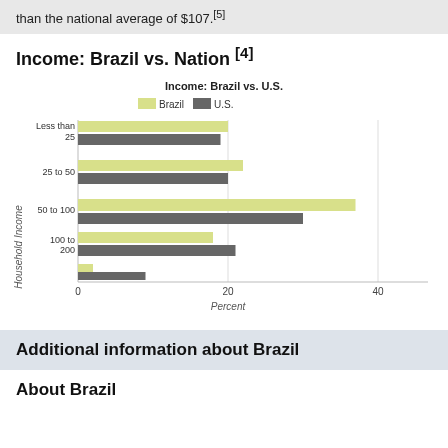than the national average of $107.[5]
Income: Brazil vs. Nation [4]
[Figure (grouped-bar-chart): Income: Brazil vs. U.S.]
Additional information about Brazil
About Brazil